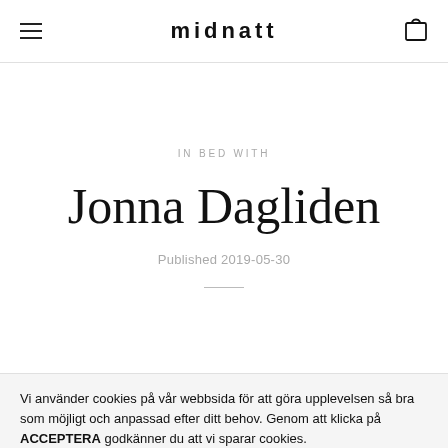midnatt
IN BED WITH
Jonna Dagliden
Published 2019-05-30
Vi använder cookies på vår webbsida för att göra upplevelsen så bra som möjligt och anpassad efter ditt behov. Genom att klicka på ACCEPTERA godkänner du att vi sparar cookies.
Acceptera